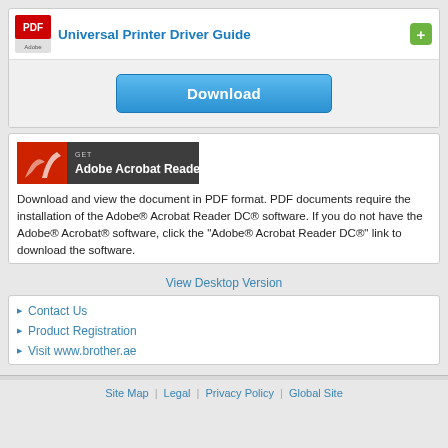Universal Printer Driver Guide
[Figure (screenshot): Download button for Universal Printer Driver Guide]
[Figure (logo): Get Adobe Acrobat Reader banner]
Download and view the document in PDF format. PDF documents require the installation of the Adobe® Acrobat Reader DC® software. If you do not have the Adobe® Acrobat® software, click the "Adobe® Acrobat Reader DC®" link to download the software.
View Desktop Version
Contact Us
Product Registration
Visit www.brother.ae
Site Map | Legal | Privacy Policy | Global Site